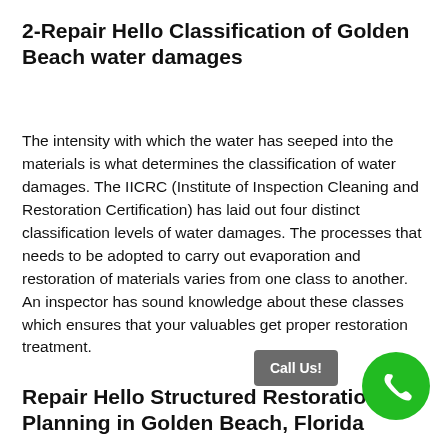2-Repair Hello Classification of Golden Beach water damages
The intensity with which the water has seeped into the materials is what determines the classification of water damages. The IICRC (Institute of Inspection Cleaning and Restoration Certification) has laid out four distinct classification levels of water damages. The processes that needs to be adopted to carry out evaporation and restoration of materials varies from one class to another. An inspector has sound knowledge about these classes which ensures that your valuables get proper restoration treatment.
Repair Hello Structured Restoration Planning in Golden Beach, Florida